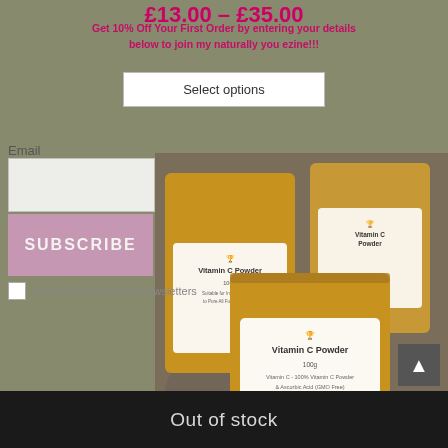£13.00 – £35.00
Get 10% Off Your First Order by entering your details below to join my naturally you ezine!!!
Select options
Email
SUBSCRIBE
I would like to receive newsletters
[Figure (photo): Three kraft paper pouches of Vitamin C Powder products arranged on a stone surface outdoors, with product labels visible]
Out of stock